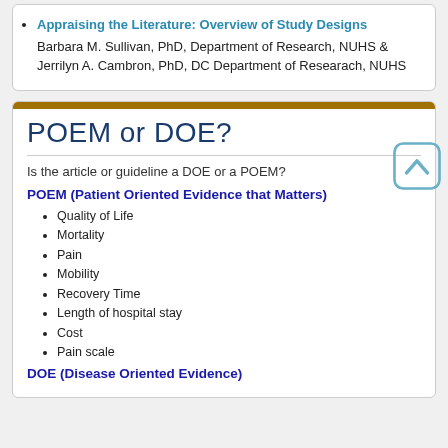Appraising the Literature: Overview of Study Designs — Barbara M. Sullivan, PhD, Department of Research, NUHS & Jerrilyn A. Cambron, PhD, DC Department of Researach, NUHS
POEM or DOE?
Is the article or guideline a DOE or a POEM?
POEM (Patient Oriented Evidence that Matters)
Quality of Life
Mortality
Pain
Mobility
Recovery Time
Length of hospital stay
Cost
Pain scale
DOE (Disease Oriented Evidence)